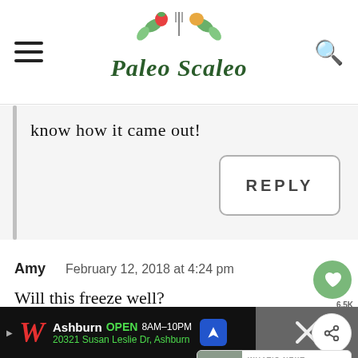[Figure (logo): Paleo Scaleo logo with illustrated food icons and script text]
know how it came out!
REPLY
Amy   February 12, 2018 at 4:24 pm
Will this freeze well?
[Figure (infographic): What's Next panel showing 30 Minute Instant Pot... with food thumbnail]
[Figure (infographic): Walgreens advertisement bar: Ashburn OPEN 8AM-10PM, 20321 Susan Leslie Dr, Ashburn]